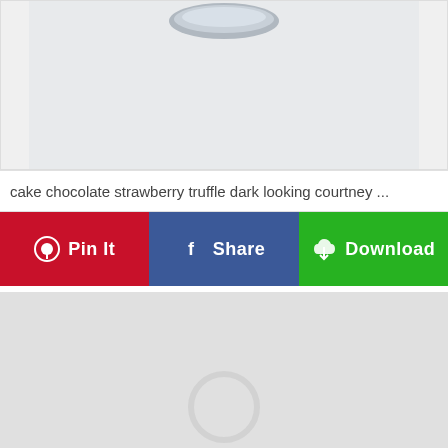[Figure (photo): Top portion of a food/drink image on light gray background, showing what appears to be the top of a glass or jar, partially cropped]
cake chocolate strawberry truffle dark looking courtney ...
[Figure (infographic): Three action buttons: Pin It (red, Pinterest), Share (blue, Facebook), Download (green, cloud download icon)]
[Figure (photo): Gray placeholder image with partial loading circle icon visible at bottom center, indicating an image loading state]